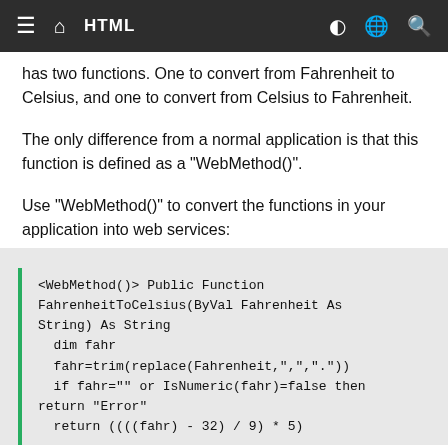HTML
has two functions. One to convert from Fahrenheit to Celsius, and one to convert from Celsius to Fahrenheit.
The only difference from a normal application is that this function is defined as a "WebMethod()".
Use "WebMethod()" to convert the functions in your application into web services:
[Figure (screenshot): Code block showing VB.NET WebMethod function FahrenheitToCelsius with monospace font on grey background with green left border]
<WebMethod()> Public Function FahrenheitToCelsius(ByVal Fahrenheit As String) As String
  dim fahr
  fahr=trim(replace(Fahrenheit,",","."))
  if fahr="" or IsNumeric(fahr)=false then
return "Error"
  return ((((fahr) - 32) / 9) * 5)